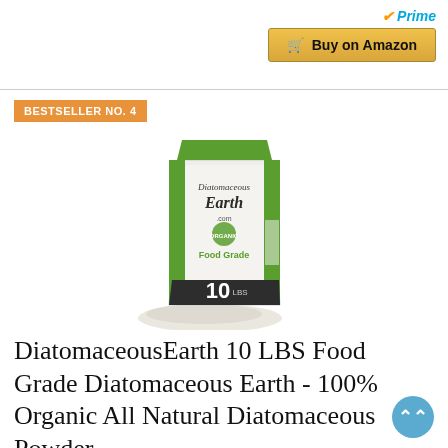[Figure (screenshot): Amazon Prime logo with checkmark and 'Buy on Amazon' button with cart icon]
BESTSELLER NO. 4
[Figure (photo): Diatomaceous Earth brand 10 LBS Food Grade white bag with green accents, pile of white powder in front]
DiatomaceousEarth 10 LBS Food Grade Diatomaceous Earth - 100% Organic All Natural Diatomaceous Powder